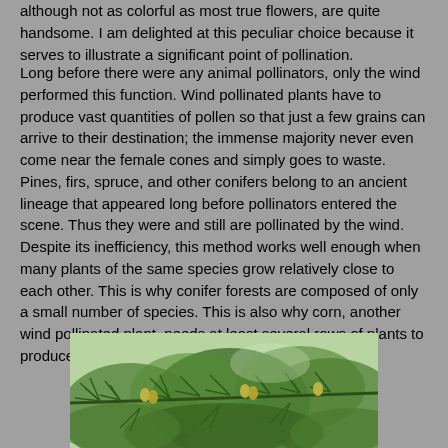although not as colorful as most true flowers, are quite handsome. I am delighted at this peculiar choice because it serves to illustrate a significant point of pollination.
Long before there were any animal pollinators, only the wind performed this function. Wind pollinated plants have to produce vast quantities of pollen so that just a few grains can arrive to their destination; the immense majority never even come near the female cones and simply goes to waste. Pines, firs, spruce, and other conifers belong to an ancient lineage that appeared long before pollinators entered the scene. Thus they were and still are pollinated by the wind. Despite its inefficiency, this method works well enough when many plants of the same species grow relatively close to each other. This is why conifer forests are composed of only a small number of species. This is also why corn, another wind pollinated plant, needs at least several rows of plants to produce seeds.
[Figure (photo): A photograph of pine tree branches with green needles and small yellow-green pine cones visible.]